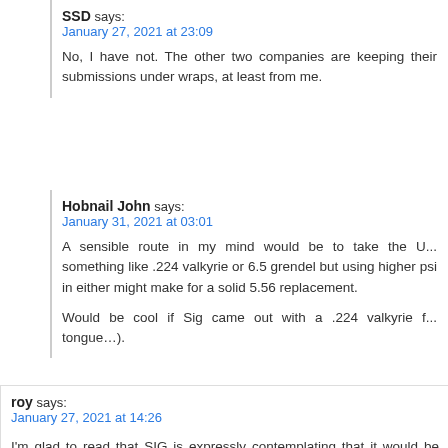SSD says:
January 27, 2021 at 23:09
No, I have not. The other two companies are keeping their submissions under wraps, at least from me.
Hobnail John says:
January 31, 2021 at 03:01
A sensible route in my mind would be to take the U... something like .224 valkyrie or 6.5 grendel but using higher psi in either might make for a solid 5.56 replacement.
Would be cool if Sig came out with a .224 valkyrie f... tongue...).
roy says:
January 27, 2021 at 14:26
I'm glad to read that SIG is expressly contemplating th... available to the civilian sector. That being said, I would n... round would be at least several dollars. I'm also guessing... case makes it proprietary and as such only SIG would be th... to license the design to another entity?